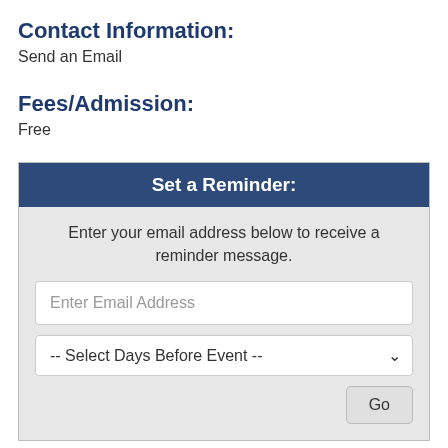Contact Information:
Send an Email
Fees/Admission:
Free
Set a Reminder:
Enter your email address below to receive a reminder message.
Enter Email Address
-- Select Days Before Event --
Go
To Current Calendar